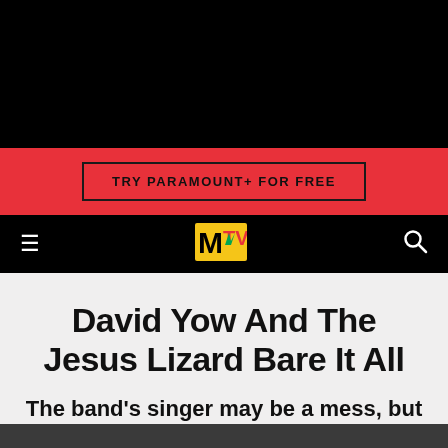[Figure (other): Black hero banner area at top of MTV webpage]
TRY PARAMOUNT+ FOR FREE
MTV logo navigation bar with hamburger menu and search icon
David Yow And The Jesus Lizard Bare It All
The band's singer may be a mess, but his mates are tight, precise rockers.